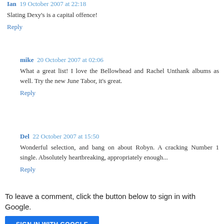Ian  19 October 2007 at 22:18
Slating Dexy's is a capital offence!
Reply
mike  20 October 2007 at 02:06
What a great list! I love the Bellowhead and Rachel Unthank albums as well. Try the new June Tabor, it's great.
Reply
Del  22 October 2007 at 15:50
Wonderful selection, and bang on about Robyn. A cracking Number 1 single. Absolutely heartbreaking, appropriately enough...
Reply
To leave a comment, click the button below to sign in with Google.
SIGN IN WITH GOOGLE